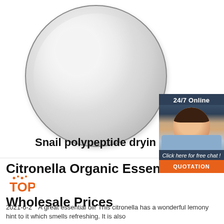[Figure (photo): Product photo: white powder in a petri dish on a light background, circular dish with radial gradient shading]
[Figure (photo): Online support widget showing a customer service agent wearing a headset, with '24/7 Online' label, 'Click here for free chat!' text, and an orange QUOTATION button]
Snail polypeptide drying po
Citronella Organic Essential Oil at Wholesale Prices
2021-6-2  A great essential oil! This citronella has a wonderful lemony hint to it which smells refreshing. It is also